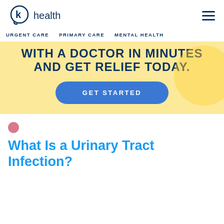k health
URGENT CARE  PRIMARY CARE  MENTAL HEALTH
[Figure (infographic): Yellow banner with bold dark blue uppercase text 'WITH A DOCTOR IN MINUTES AND GET RELIEF TODAY.' and a blue rounded button labeled 'GET STARTED']
What Is a Urinary Tract Infection?